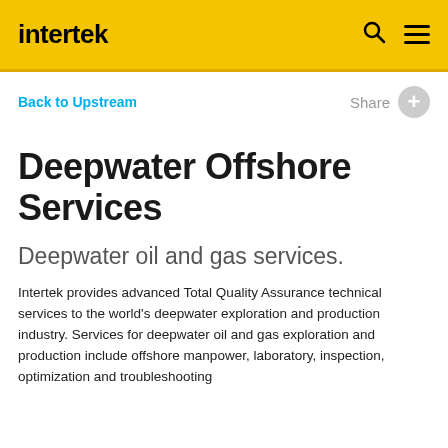intertek
Back to Upstream
Deepwater Offshore Services
Deepwater oil and gas services.
Intertek provides advanced Total Quality Assurance technical services to the world's deepwater exploration and production industry. Services for deepwater oil and gas exploration and production include offshore manpower, laboratory, inspection, optimization and troubleshooting